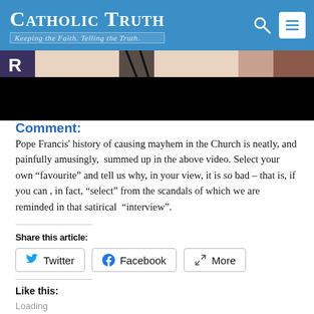Catholic Truth — Keeping the Faith. Telling the Truth.
[Figure (illustration): Partial view of an illustrated/animated image showing characters, partially obscured with a black bar at the bottom. Letter 'R' visible on left. Cartoon-style art with skin tones, dark clothing, and muted background.]
Comment:
Pope Francis' history of causing mayhem in the Church is neatly, and painfully amusingly, summed up in the above video. Select your own “favourite” and tell us why, in your view, it is so bad – that is, if you can , in fact, “select” from the scandals of which we are reminded in that satirical “interview”.
Share this article:
Twitter | Facebook | More
Like this:
Loading